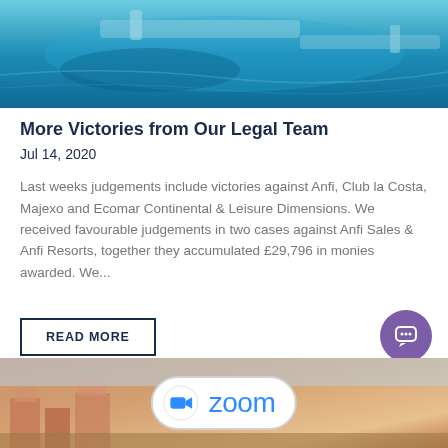[Figure (photo): Aerial view of a coastal marina with turquoise water and docks]
More Victories from Our Legal Team
Jul 14, 2020
Last weeks judgements include victories against Anfi, Club la Costa, Majexo and Ecomar Continental & Leisure Dimensions. We received favourable judgements in two cases against Anfi Sales & Anfi Resorts, together they accumulated £29,796 in monies awarded. We...
READ MORE
[Figure (logo): Zoom video conferencing logo with camera icon on a white pill-shaped badge overlaid on a coastal town photo]